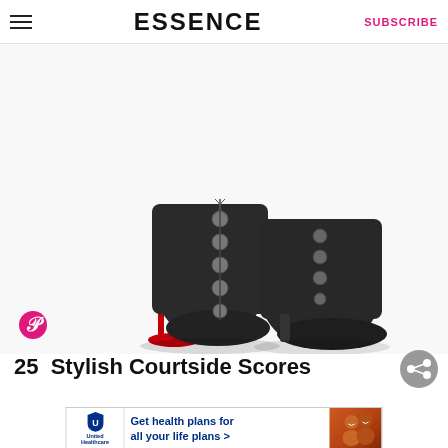ESSENCE | SUBSCRIBE
[Figure (photo): Two black leather high-heel ankle boots with silver button closures and red soles, photographed against a white background.]
25 Stylish Courtside Scores
[Figure (other): United Healthcare advertisement: Get health plans for all your life plans >]